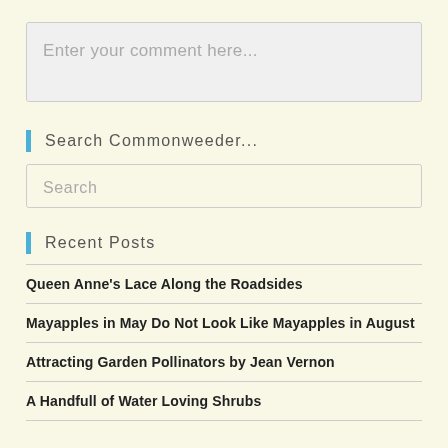Enter your comment here...
Search Commonweeder...
Search
Recent Posts
Queen Anne's Lace Along the Roadsides
Mayapples in May Do Not Look Like Mayapples in August
Attracting Garden Pollinators by Jean Vernon
A Handfull of Water Loving Shrubs